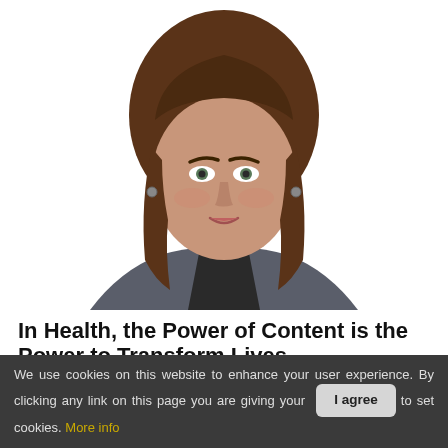[Figure (photo): Professional headshot of a woman with shoulder-length brown hair, wearing a dark top and grey blazer, white background]
In Health, the Power of Content is the Power to Transform Lives
Lyn Falconio, CMO, Publicis Health
We use cookies on this website to enhance your user experience. By clicking any link on this page you are giving your consent to set cookies. More info